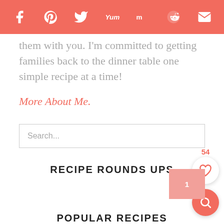Social share bar with icons: Facebook, Pinterest, Twitter, Yummly, Mix, Reddit, Email
them with you. I'm committed to getting families back to the dinner table one simple recipe at a time!
More About Me.
Search...
RECIPE ROUNDS UPS
POPULAR RECIPES